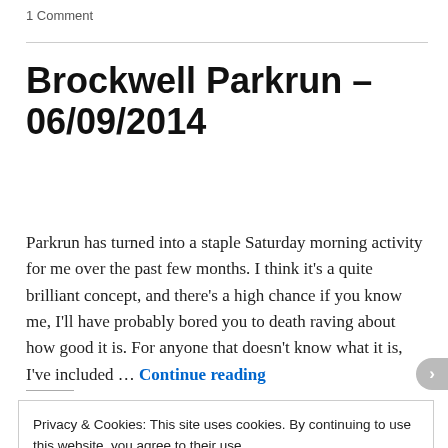1 Comment
Brockwell Parkrun – 06/09/2014
Parkrun has turned into a staple Saturday morning activity for me over the past few months. I think it's a quite brilliant concept, and there's a high chance if you know me, I'll have probably bored you to death raving about how good it is. For anyone that doesn't know what it is, I've included … Continue reading
Privacy & Cookies: This site uses cookies. By continuing to use this website, you agree to their use.
To find out more, including how to control cookies, see here: Cookie Policy
Close and accept